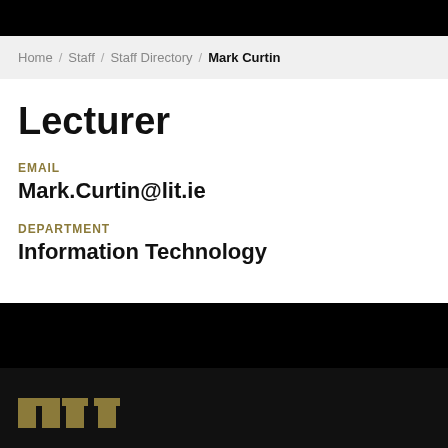Home / Staff / Staff Directory / Mark Curtin
Lecturer
EMAIL
Mark.Curtin@lit.ie
DEPARTMENT
Information Technology